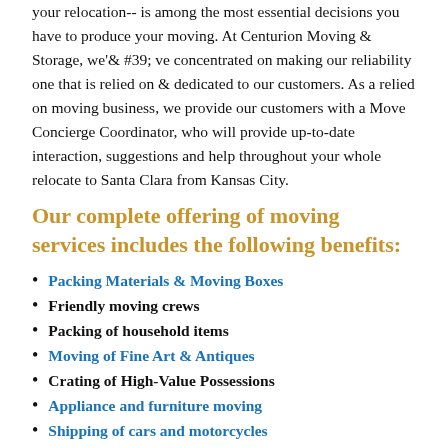your relocation-- is among the most essential decisions you have to produce your moving. At Centurion Moving & Storage, we'&#39; ve concentrated on making our reliability one that is relied on & dedicated to our customers. As a relied on moving business, we provide our customers with a Move Concierge Coordinator, who will provide up-to-date interaction, suggestions and help throughout your whole relocate to Santa Clara from Kansas City.
Our complete offering of moving services includes the following benefits:
Packing Materials & Moving Boxes
Friendly moving crews
Packing of household items
Moving of Fine Art & Antiques
Crating of High-Value Possessions
Appliance and furniture moving
Shipping of cars and motorcycles
Concierge Agent